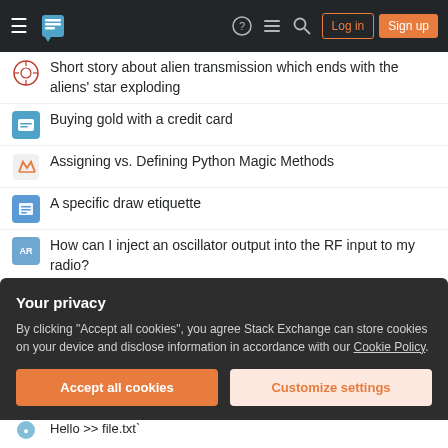Stack Exchange navigation bar with hamburger menu, logo, help, chat, search icons, Log in and Sign up buttons
Short story about alien transmission which ends with the aliens' star exploding
Buying gold with a credit card
Assigning vs. Defining Python Magic Methods
A specific draw etiquette
How can I inject an oscillator output into the RF input to my radio?
What are "branes", and why do they form a category?
How can I (Indian, 28) visit my fiance (pursuing MS in US) for a few months?
Why is Hawking radiation composed of photons?
Your privacy
By clicking "Accept all cookies", you agree Stack Exchange can store cookies on your device and disclose information in accordance with our Cookie Policy.
Accept all cookies   Customize settings
Hello >> file.txt`